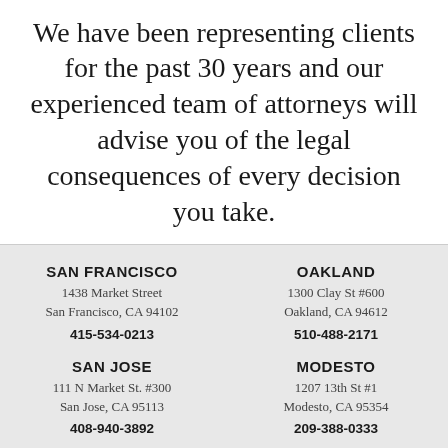We have been representing clients for the past 30 years and our experienced team of attorneys will advise you of the legal consequences of every decision you take.
SAN FRANCISCO
1438 Market Street
San Francisco, CA 94102
415-534-0213
OAKLAND
1300 Clay St #600
Oakland, CA 94612
510-488-2171
SAN JOSE
111 N Market St. #300
San Jose, CA 95113
408-940-3892
MODESTO
1207 13th St #1
Modesto, CA 95354
209-388-0333